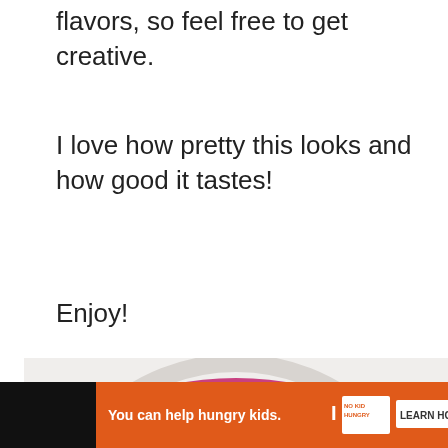flavors, so feel free to get creative.
I love how pretty this looks and how good it tastes!
Enjoy!
[Figure (photo): Top-down view of a bowl of pink/magenta colored ice cream or frozen dessert on a white plate, with a textured, scooped appearance on a light background.]
[Figure (screenshot): Advertisement banner: orange background with text 'You can help hungry kids.' and No Kid Hungry logo with a 'LEARN HOW' button. A close (X) button appears in the upper right of the ad. Black bar extends to the right.]